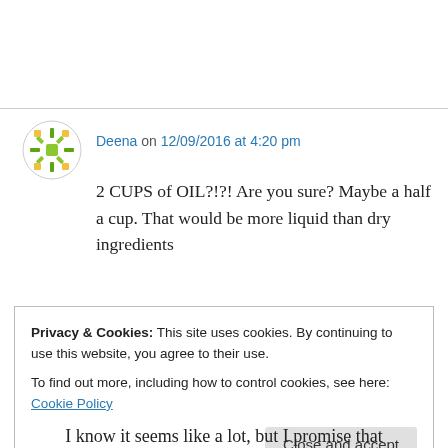[Figure (illustration): Circular avatar icon with green/yellow mosaic/snowflake pattern]
Deena on 12/09/2016 at 4:20 pm
2 CUPS of OIL?!?! Are you sure? Maybe a half a cup. That would be more liquid than dry ingredients
Liked by 1 person
↪ Reply
Privacy & Cookies: This site uses cookies. By continuing to use this website, you agree to their use.
To find out more, including how to control cookies, see here: Cookie Policy
Close and accept
I know it seems like a lot, but I promise that